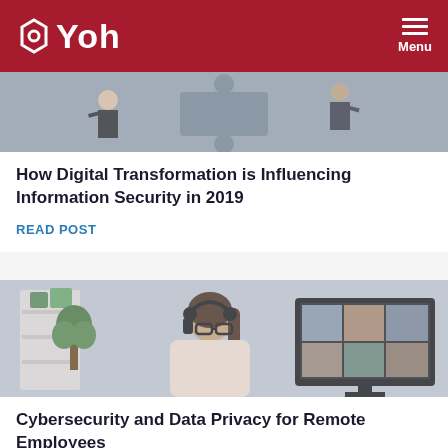Yoh — Menu
[Figure (photo): Three businesspeople pushing large puzzle pieces together against a gray background]
How Digital Transformation is Influencing Information Security in 2019
READ POST
[Figure (photo): Woman with headset and glasses participating in a video conference call, with a monitor showing a grid of remote meeting participants]
Cybersecurity and Data Privacy for Remote Employees
READ POST